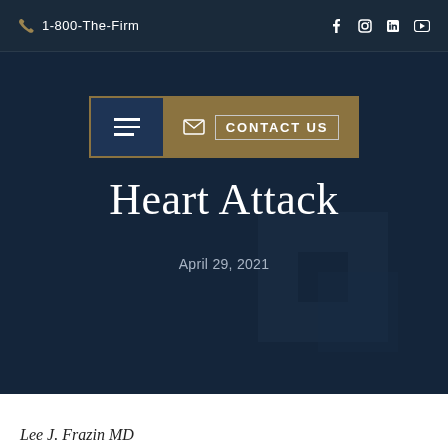1-800-The-Firm
CONTACT US
Heart Attack
April 29, 2021
Lee J. Frazin MD